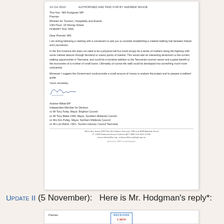[Figure (photo): Scanned letter from Andrew Wilkie MP to The Hon. Will Hodgman MP, Premier, regarding establishing a marked walking trail between Hobart and Launceston. Letter is dated, addressed to the Minister for Tourism, Hospitality and Events, includes a handwritten signature and cc list.]
UPDATE II (5 November):  Here is Mr. Hodgman's reply*:
[Figure (photo): Partial scan of a reply letter with a RECEIVED stamp dated 1 NOV, from Premier.]